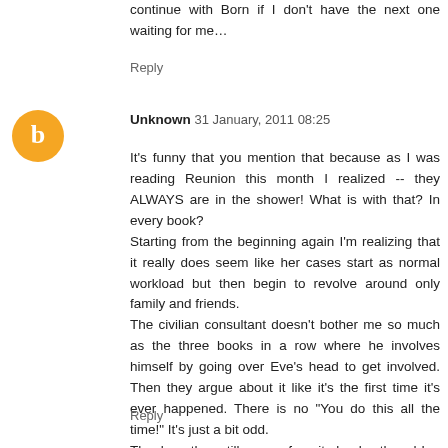continue with Born if I don't have the next one waiting for me…
Reply
Unknown 31 January, 2011 08:25
It's funny that you mention that because as I was reading Reunion this month I realized -- they ALWAYS are in the shower! What is with that? In every book?
Starting from the beginning again I'm realizing that it really does seem like her cases start as normal workload but then begin to revolve around only family and friends.
The civilian consultant doesn't bother me so much as the three books in a row where he involves himself by going over Eve's head to get involved. Then they argue about it like it's the first time it's ever happened. There is no "You do this all the time!" It's just a bit odd.
Thanks -- they still are my favorite books, though!
Reply